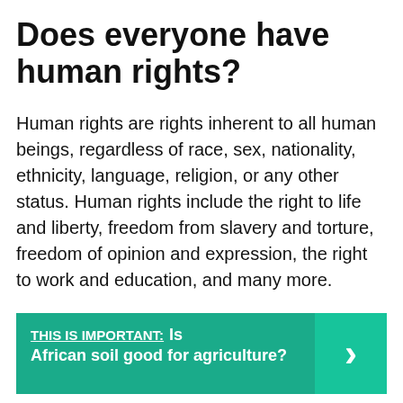Does everyone have human rights?
Human rights are rights inherent to all human beings, regardless of race, sex, nationality, ethnicity, language, religion, or any other status. Human rights include the right to life and liberty, freedom from slavery and torture, freedom of opinion and expression, the right to work and education, and many more.
THIS IS IMPORTANT: Is African soil good for agriculture?
Why was human rights created?